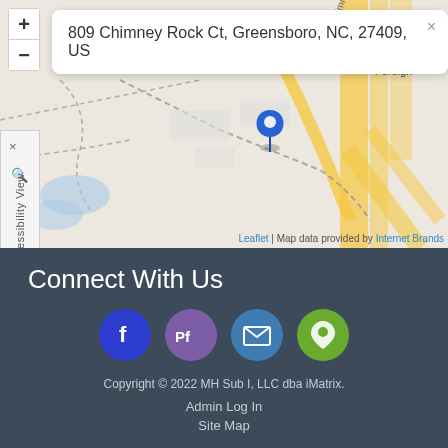[Figure (map): Interactive map showing location at 809 Chimney Rock Ct, Greensboro, NC, 27409, US. Map shows road layout with Chimney Rock Rd visible, a blue location pin marker, zoom controls (+/-), and an accessibility view sidebar panel on the left. Map data attribution shows Leaflet and Internet Brands at the bottom right.]
Connect With Us
[Figure (infographic): Four circular social media/contact icon buttons: Facebook (blue circle with 'f'), Pf profile (purple circle with 'Pf'), Email/message (blue circle with envelope icon), Location/map pin (green circle with map pin icon)]
Copyright © 2022 MH Sub I, LLC dba iMatrix.
Admin Log In
Site Map